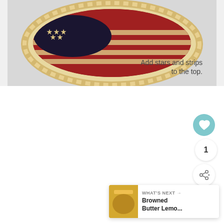[Figure (photo): A circular pie with a patriotic American flag design on top: blueberry filling in the upper-left canton area with star-shaped pastry cutouts, red strawberry filling stripes alternating with cream/pastry strips, and a crimped pastry edge. The pie sits on a white plate against a light gray background. Text overlay reads: 'Add stars and strips to the top.']
Add stars and strips to the top.
1
WHAT'S NEXT → Browned Butter Lemo...